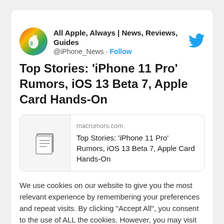[Figure (screenshot): Twitter profile avatar: colorful apple logo on green/rainbow background]
All Apple, Always | News, Reviews, Guides @iPhone_News · Follow
Top Stories: 'iPhone 11 Pro' Rumors, iOS 13 Beta 7, Apple Card Hands-On
[Figure (screenshot): Link preview card for macrumors.com article: Top Stories: 'iPhone 11 Pro' Rumors, iOS 13 Beta 7, Apple Card Hands-On]
We use cookies on our website to give you the most relevant experience by remembering your preferences and repeat visits. By clicking “Accept All”, you consent to the use of ALL the cookies. However, you may visit “Cookie Settings” to provide a controlled consent.
Cookie Settings
Accept All